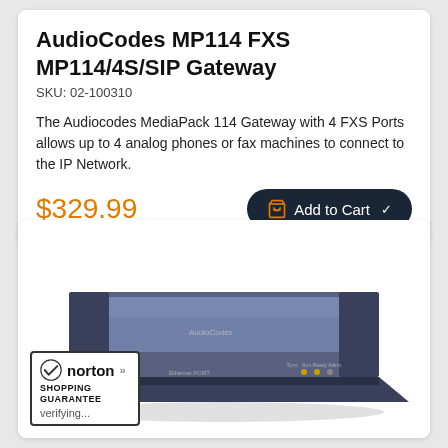AudioCodes MP114 FXS MP114/4S/SIP Gateway
SKU: 02-100310
The Audiocodes MediaPack 114 Gateway with 4 FXS Ports allows up to 4 analog phones or fax machines to connect to the IP Network.
$329.99
Add to Cart
[Figure (photo): AudioCodes MP114 FXS Gateway device — a flat rectangular networking device with a dark blue/grey casing, ports on the front, and status LEDs.]
norton SHOPPING GUARANTEE verifying...